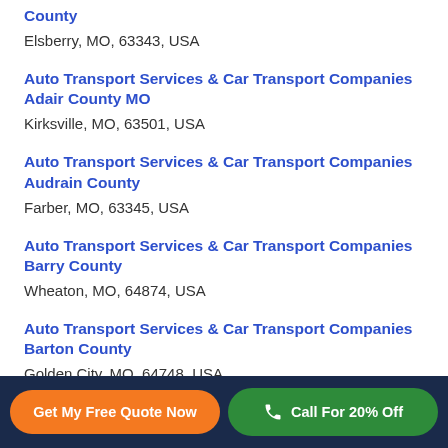County
Elsberry, MO, 63343, USA
Auto Transport Services & Car Transport Companies Adair County MO
Kirksville, MO, 63501, USA
Auto Transport Services & Car Transport Companies Audrain County
Farber, MO, 63345, USA
Auto Transport Services & Car Transport Companies Barry County
Wheaton, MO, 64874, USA
Auto Transport Services & Car Transport Companies Barton County
Golden City, MO, 64748, USA
Get My Free Quote Now   Call For 20% Off